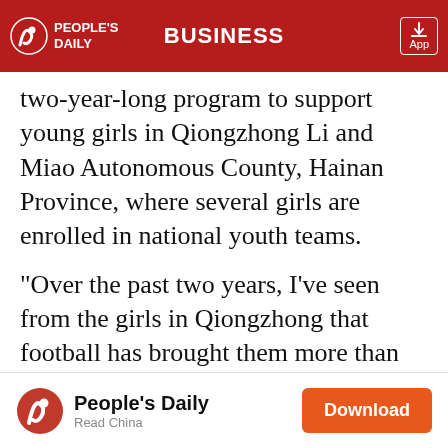PEOPLE'S DAILY | BUSINESS
two-year-long program to support young girls in Qiongzhong Li and Miao Autonomous County, Hainan Province, where several girls are enrolled in national youth teams.

"Over the past two years, I've seen from the girls in Qiongzhong that football has brought them more than just physical fitness and technical skills. It has also opened doors for them to more life options and opportunities, as well as tenacity and fighting spirit," said Eric Jing, Chairman and CEO of Alipay operator Ant Financial Services Group. "This has strengthened our determination to expand our
[Figure (other): People's Daily app advertisement banner with logo, 'People's Daily / Read China' text, and orange Download button]